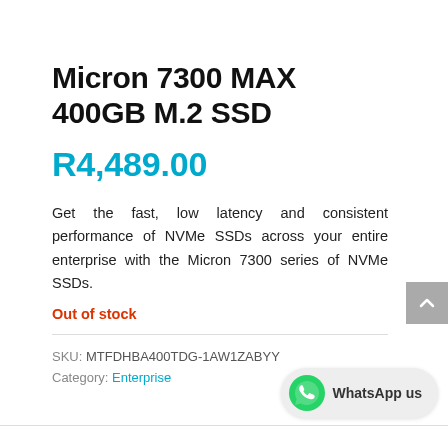Micron 7300 MAX 400GB M.2 SSD
R4,489.00
Get the fast, low latency and consistent performance of NVMe SSDs across your entire enterprise with the Micron 7300 series of NVMe SSDs.
Out of stock
SKU: MTFDHBA400TDG-1AW1ZABYY
Category: Enterprise